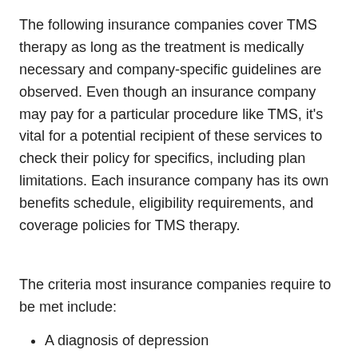The following insurance companies cover TMS therapy as long as the treatment is medically necessary and company-specific guidelines are observed. Even though an insurance company may pay for a particular procedure like TMS, it's vital for a potential recipient of these services to check their policy for specifics, including plan limitations. Each insurance company has its own benefits schedule, eligibility requirements, and coverage policies for TMS therapy.
The criteria most insurance companies require to be met include:
A diagnosis of depression
Attempts at resolving depression with antidepressant medications with no significant lasting improvement
A history of therapy or counseling carried out by licensed professionals
No history of seizures or seizure disorder